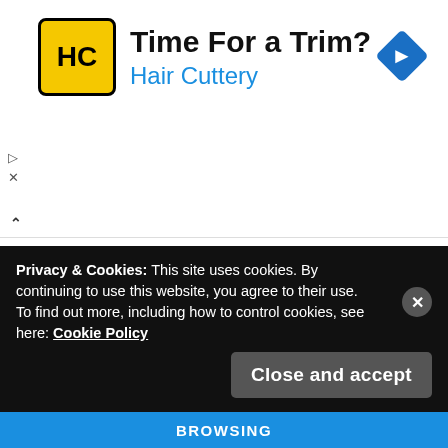[Figure (screenshot): Hair Cuttery advertisement banner with yellow HC logo, 'Time For a Trim?' headline, and a blue navigation diamond icon]
n's first love. Contrary to his bright appearance, Ji Seojun has a dark and secretive personality. Oh Harin is his only friend who gives meaning to his life. On the day he also decided to confess his true feelings to Harin, he died unexpectedly in a photo studio.
Privacy & Cookies: This site uses cookies. By continuing to use this website, you agree to their use.
To find out more, including how to control cookies, see here: Cookie Policy
Close and accept